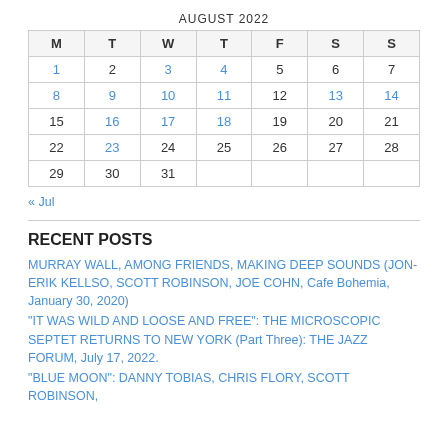| M | T | W | T | F | S | S |
| --- | --- | --- | --- | --- | --- | --- |
| 1 | 2 | 3 | 4 | 5 | 6 | 7 |
| 8 | 9 | 10 | 11 | 12 | 13 | 14 |
| 15 | 16 | 17 | 18 | 19 | 20 | 21 |
| 22 | 23 | 24 | 25 | 26 | 27 | 28 |
| 29 | 30 | 31 |  |  |  |  |
« Jul
RECENT POSTS
MURRAY WALL, AMONG FRIENDS, MAKING DEEP SOUNDS (JON-ERIK KELLSO, SCOTT ROBINSON, JOE COHN, Cafe Bohemia, January 30, 2020)
“IT WAS WILD AND LOOSE AND FREE”: THE MICROSCOPIC SEPTET RETURNS TO NEW YORK (Part Three): THE JAZZ FORUM, July 17, 2022.
“BLUE MOON”: DANNY TOBIAS, CHRIS FLORY, SCOTT ROBINSON,